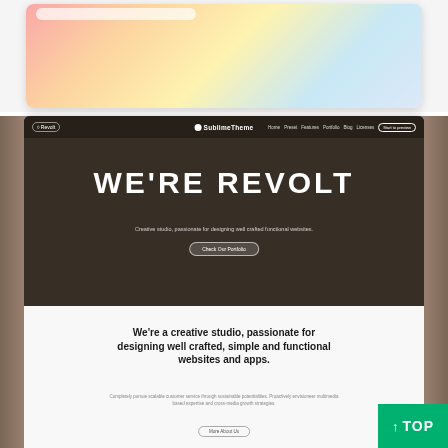[Figure (screenshot): Top portion showing a colorful gradient UI mockup screenshot with pink, orange, yellow, and blue gradient background, and a white search/address bar at the top]
[Figure (screenshot): Website mockup screenshot showing SublimeTheme website with a dark hero section displaying 'WE'RE REVOLT' in large white text, subtitle 'Creative studio, passionate for designing well crafted functional websites', a 'Check Our Portfolio' button, navigation with Revolt logo and menu links, and below a white section with bold heading 'We're a creative studio, passionate for designing well crafted, simple and functional websites and apps.' with supporting text and 'More About Us' button. A green 'TOP' button with up arrow is visible in the bottom right.]